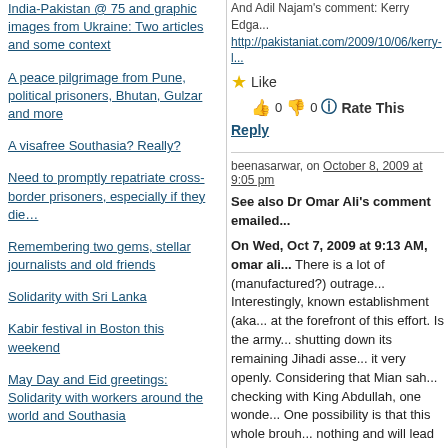India-Pakistan @ 75 and graphic images from Ukraine: Two articles and some context
A peace pilgrimage from Pune, political prisoners, Bhutan, Gulzar and more
A visafree Southasia? Really?
Need to promptly repatriate cross-border prisoners, especially if they die…
Remembering two gems, stellar journalists and old friends
Solidarity with Sri Lanka
Kabir festival in Boston this weekend
May Day and Eid greetings: Solidarity with workers around the world and Southasia
And Adil Najam's comment: Kerry Lugar
http://pakistaniat.com/2009/10/06/kerry-l...
★ Like  👍 0  👎 0  ℹ Rate This
Reply
beenasarwar, on October 8, 2009 at 9:05 pm
See also Dr Omar Ali's comment emailed...
On Wed, Oct 7, 2009 at 9:13 AM, omar ali... There is a lot of (manufactured?) outrage... Interestingly, known establishment (aka... at the forefront of this effort. Is the army... shutting down its remaining Jihadi asse... it very openly. Considering that Mian sah... checking with King Abdullah, one wonde... One possibility is that this whole brouh... nothing and will lead to nothing. Given th... politics and military psyops, this is not c... prelude to a soft coup of some sort? (bu... OR, it could be a real effort to get out of... which ones and why? Is it about the mor... theives and extortionists be scared of a ... really seriously new in this bill is the exp... in Punjab and wrapping up the so called...